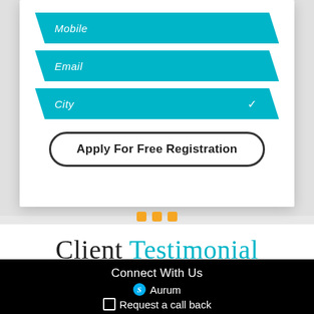[Figure (screenshot): Web registration form with teal/cyan parallelogram-shaped input fields for Mobile, Email, and City, and an Apply For Free Registration button]
Client Testimonial
Connect With Us
Aurum
Request a call back
Call Us On : 9009955997